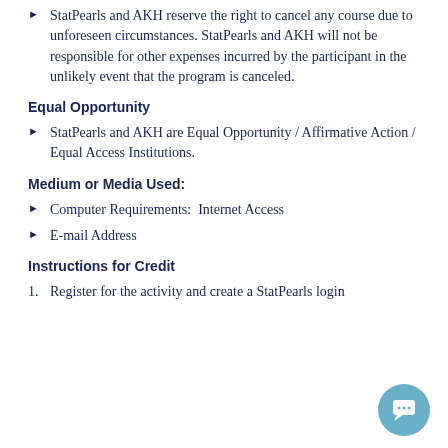StatPearls and AKH reserve the right to cancel any course due to unforeseen circumstances. StatPearls and AKH will not be responsible for other expenses incurred by the participant in the unlikely event that the program is canceled.
Equal Opportunity
StatPearls and AKH are Equal Opportunity / Affirmative Action / Equal Access Institutions.
Medium or Media Used:
Computer Requirements:  Internet Access
E-mail Address
Instructions for Credit
Register for the activity and create a StatPearls login...